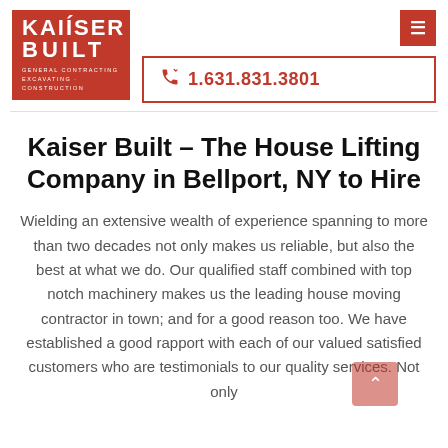[Figure (logo): Kaiser Built logo — red background with white text reading KAISER BUILT, GENERAL CONTRACTING, EXCAVATING · CONSTRUCTION]
☰  1.631.831.3801
Kaiser Built – The House Lifting Company in Bellport, NY to Hire
Wielding an extensive wealth of experience spanning to more than two decades not only makes us reliable, but also the best at what we do. Our qualified staff combined with top notch machinery makes us the leading house moving contractor in town; and for a good reason too. We have established a good rapport with each of our valued satisfied customers who are testimonials to our quality services. Not only